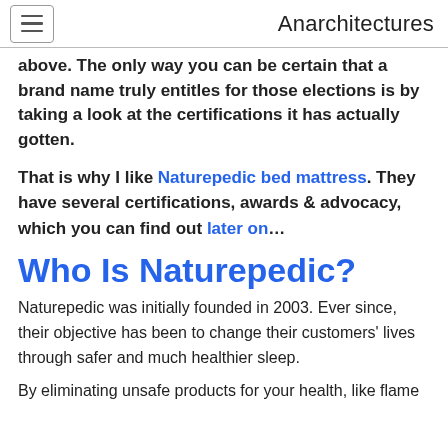Anarchitectures
above. The only way you can be certain that a brand name truly entitles for those elections is by taking a look at the certifications it has actually gotten.
That is why I like Naturepedic bed mattress. They have several certifications, awards & advocacy, which you can find out later on…
Who Is Naturepedic?
Naturepedic was initially founded in 2003. Ever since, their objective has been to change their customers' lives through safer and much healthier sleep.
By eliminating unsafe products for your health, like flame